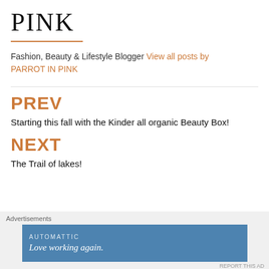PINK
Fashion, Beauty & Lifestyle Blogger View all posts by PARROT IN PINK
PREV
Starting this fall with the Kinder all organic Beauty Box!
NEXT
The Trail of lakes!
Advertisements
[Figure (other): Automattic advertisement banner: 'Love working again.']